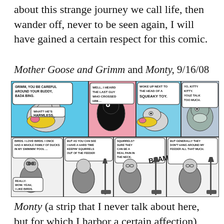about this strange journey we call life, then wander off, never to be seen again, I will have gained a certain respect for this comic.
Mother Goose and Grimm and Monty, 9/16/08
[Figure (illustration): Two comic strips side by side. Top strip: Mother Goose and Grimm featuring cartoon dog Grimm with yellow beak and a black cat character and another animal. Speech bubbles read: 'GRIMM, YOU BE CAREFUL AROUND YOUR BUDDY, BADA BING.', 'WHAT? HE'S HARMLESS.', 'WELL, I HEARD THE LAST GUY WHO CROSSED HIM....', 'WOKE UP NEXT TO THE HEAD OF A SQUEAKY TOY.', 'YO, KITTY KITTY. YOUZ TALK TOO MUCH.' Bottom strip: Monty featuring a heavyset man in black-and-white near a bird feeder with speech bubbles: 'BIRDS. I LOVE BIRDS. I ONCE HAD A WHOLE FAMILY OF DUCKS IN MY SWIMMIN' POOL...', 'REALLY. WOW. YEAH, I LIKE BIRDS.', 'BUT AS YOU CAN SEE I HAVE A HARD TIME KEEPIN' SQUIRRELS OUT OF THE FEEDER', 'SQUIRRELS? SURE THEY CAN BE A REAL PAIN IN THE NECK.', 'BLAM!', 'BUT GENERALLY THEY DON'T HANG AROUND MY FEEDER ALL THAT MUCH.']
Monty (a strip that I never talk about here, but for which I harbor a certain affection) and Mother Goose and Grimm